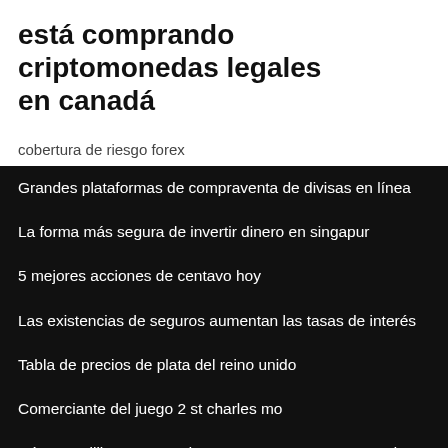está comprando criptomonedas legales en canadá
cobertura de riesgo forex
Grandes plataformas de compraventa de divisas en línea
La forma más segura de invertir dinero en singapur
5 mejores acciones de centavo hoy
Las existencias de seguros aumentan las tasas de interés
Tabla de precios de plata del reino unido
Comerciante del juego 2 st charles mo
Cómo equilibrar un tenedor en un vaso con una moneda
Descargas de calculadora de divisas